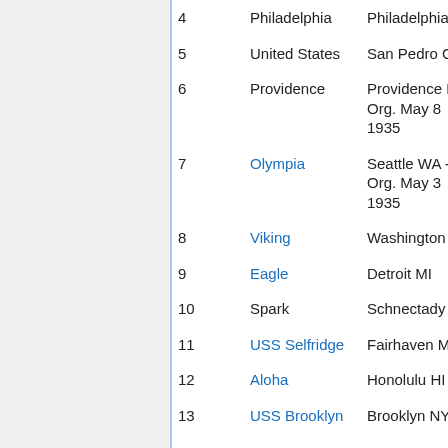| # | Name | Location |
| --- | --- | --- |
| 4 | Philadelphia | Philadelphia PA |
| 5 | United States | San Pedro CA |
| 6 | Providence | Providence RI - Org. May 8 1935 |
| 7 | Olympia | Seattle WA - Org. May 3 1935 |
| 8 | Viking | Washington DC |
| 9 | Eagle | Detroit MI |
| 10 | Spark | Schnectady NY |
| 11 | USS Selfridge | Fairhaven MA |
| 12 | Aloha | Honolulu HI |
| 13 | USS Brooklyn | Brooklyn NY |